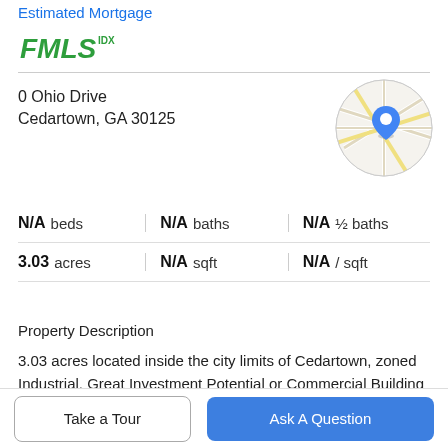Estimated Mortgage
[Figure (logo): FMLS IDX green logo]
0 Ohio Drive
Cedartown, GA 30125
[Figure (map): Circular map thumbnail showing a location pin for the property at 0 Ohio Drive, Cedartown, GA 30125]
| Stat | Value |
| --- | --- |
| N/A beds | N/A baths | N/A ½ baths |
| 3.03 acres | N/A sqft | N/A / sqft |
Property Description
3.03 acres located inside the city limits of Cedartown, zoned Industrial. Great Investment Potential or Commercial Building Site.
Take a Tour
Ask A Question